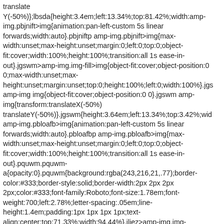translate Y(-50%)};lbsda{height:3.4em;left:13.34%;top:81.42%;width:amp-img.pbjnift>img{animation:pan-left-custom 5s linear forwards;width:auto}.pbjniftp amp-img.pbjnift>img{max-width:unset;max-height:unset;margin:0;left:0;top:0;object-fit:cover;width:100%;height:100%;transition:all 1s ease-in-out}.jgswm>amp-img.img-fill>img{object-fit:cover;object-position:0 0;max-width:unset;max-height:unset;margin:unset;top:0;height:100%;left:0;width:100%}.jgs amp-img img{object-fit:cover;object-position:0 0}.jgswm amp-img{transform:translateX(-50%) translateY(-50%)}.jgswm{height:3.64em;left:13.34%;top:3.42%;wid amp-img.pbloafb>img{animation:pan-left-custom 5s linear forwards;width:auto}.pbloafbp amp-img.pbloafb>img{max-width:unset;max-height:unset;margin:0;left:0;top:0;object-fit:cover;width:100%;height:100%;transition:all 1s ease-in-out}.pquwm.pquwm-a{opacity:0}.pquwm{background:rgba(243,216,21,.77);border-color:#333;border-style:solid;border-width:2px 2px 2px 2px;color:#333;font-family:Roboto;font-size:1.78em;font-weight:700;left:2.78%;letter-spacing:.05em;line-height:1.4em;padding:1px 1px 1px 1px;text-align:center;top:71.33%;width:94.44%}.jljez>amp-img.img-fill>img{object-fit:cover;object-position:0 0;max-width:unset;max-height:unset;margin:unset;top:0;height:100%;left:0;width:100%}.jlje amp-img img{object-fit:cover;object-position:0 0}.jljez amp-